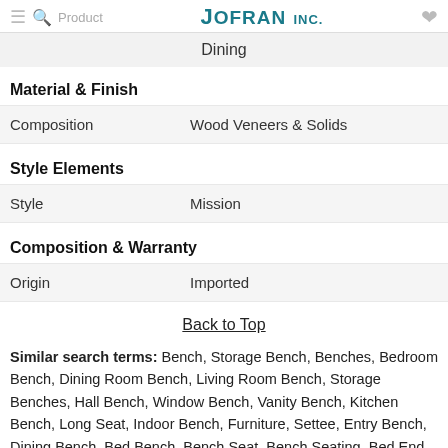Product | JOFRAN INC.
Dining
Material & Finish
|  |  |
| --- | --- |
| Composition | Wood Veneers & Solids |
Style Elements
|  |  |
| --- | --- |
| Style | Mission |
Composition & Warranty
|  |  |
| --- | --- |
| Origin | Imported |
Back to Top
Similar search terms: Bench, Storage Bench, Benches, Bedroom Bench, Dining Room Bench, Living Room Bench, Storage Benches, Hall Bench, Window Bench, Vanity Bench, Kitchen Bench, Long Seat, Indoor Bench, Furniture, Settee, Entry Bench, Dining Bench, Bed Bench, Bench Seat, Bench Seating, Bed End Bench